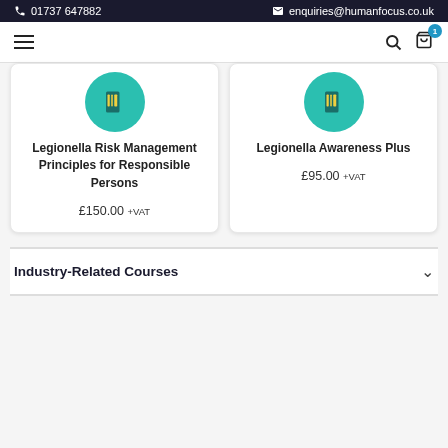01737 647882 | enquiries@humanfocus.co.uk
[Figure (screenshot): Navigation bar with hamburger menu, search icon, and shopping cart with badge showing 1]
[Figure (illustration): Course card: Legionella Risk Management Principles for Responsible Persons, £150.00 +VAT, teal circular icon with book symbol]
[Figure (illustration): Course card: Legionella Awareness Plus, £95.00 +VAT, teal circular icon with book symbol]
Industry-Related Courses